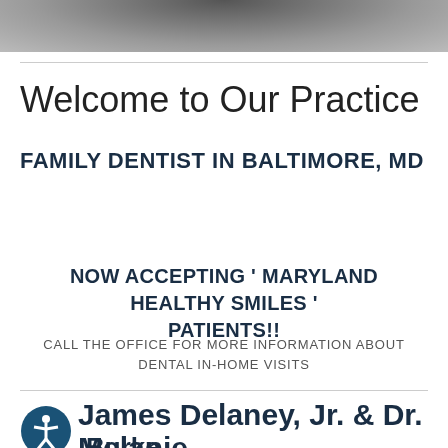[Figure (photo): Cropped photo of a person, partially visible at top of page]
Welcome to Our Practice
FAMILY DENTIST IN BALTIMORE, MD
NOW ACCEPTING ' MARYLAND HEALTHY SMILES ' PATIENTS!!
CALL THE OFFICE FOR MORE INFORMATION ABOUT DENTAL IN-HOME VISITS
James Delaney, Jr.  &  Dr. Melanie Burke